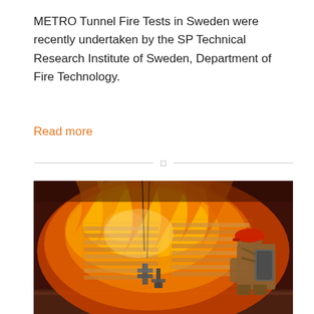METRO Tunnel Fire Tests in Sweden were recently undertaken by the SP Technical Research Institute of Sweden, Department of Fire Technology.
Read more
[Figure (photo): A firefighter in full gear with breathing apparatus stands watching a large fire engulfing industrial equipment or pallets inside what appears to be a test facility or tunnel. Intense orange and yellow flames fill the background.]